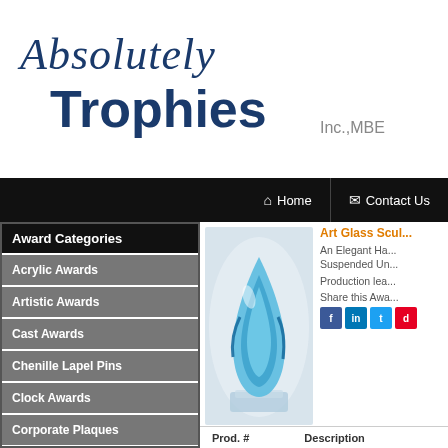[Figure (logo): Absolutely Trophies Inc., MBE logo with cursive 'Absolutely' above bold 'Trophies' in dark navy blue, with 'Inc.,MBE' in grey]
Home | Contact Us
Award Categories
Acrylic Awards
Artistic Awards
Cast Awards
Chenille Lapel Pins
Clock Awards
Corporate Plaques
[Figure (photo): Art glass sculpture award - an elegant blue teardrop-shaped glass piece on a clear base]
Art Glass Scul...
An Elegant Ha... Suspended Un...
Production lea...
Share this Awa...
| Prod. # | Description |
| --- | --- |